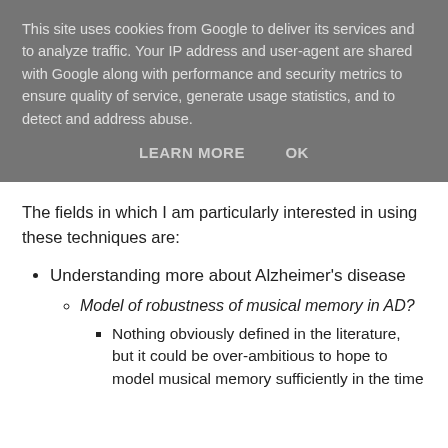This site uses cookies from Google to deliver its services and to analyze traffic. Your IP address and user-agent are shared with Google along with performance and security metrics to ensure quality of service, generate usage statistics, and to detect and address abuse.
LEARN MORE   OK
The fields in which I am particularly interested in using these techniques are:
Understanding more about Alzheimer's disease
Model of robustness of musical memory in AD?
Nothing obviously defined in the literature, but it could be over-ambitious to hope to model musical memory sufficiently in the time